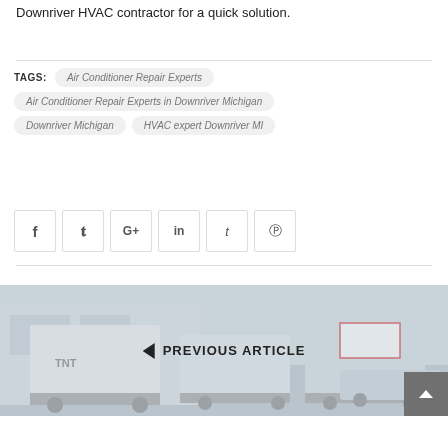Downriver HVAC contractor for a quick solution.
TAGS: Air Conditioner Repair Experts
Air Conditioner Repair Experts in Downriver Michigan
Downriver Michigan
HVAC expert Downriver MI
[Figure (infographic): Social share buttons: Facebook, Twitter, Google+, LinkedIn, Tumblr, Pinterest]
[Figure (photo): Previous article banner showing trucks parked outside a building with overlay text PREVIOUS ARTICLE and a left-pointing arrow]